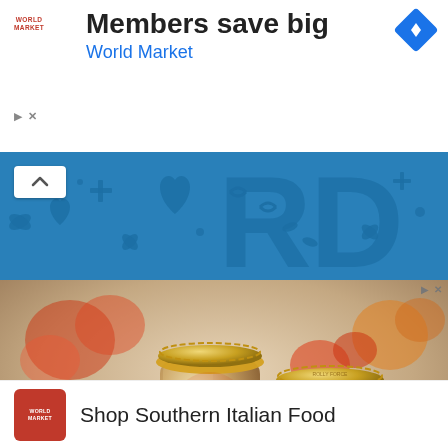[Figure (screenshot): Advertisement screenshot showing World Market ad. Top section: World Market logo, headline 'Members save big', subheadline 'World Market', blue diamond navigation icon. Middle: blue decorative banner with silhouette patterns (hearts, birds, leaves). Bottom product photo: two Talatta brand anchovy fillet jars on a wooden cutting board with tomatoes, cheese, and food items. Bottom bar: World Market logo and text 'Shop Southern Italian Food'.]